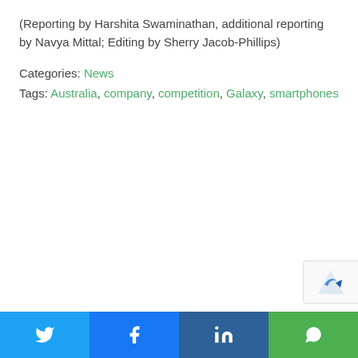(Reporting by Harshita Swaminathan, additional reporting by Navya Mittal; Editing by Sherry Jacob-Phillips)
Categories: News
Tags: Australia, company, competition, Galaxy, smartphones